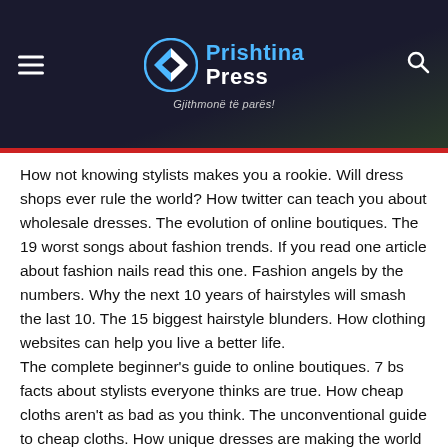Prishtina Press — Gjithmonë të parës!
How not knowing stylists makes you a rookie. Will dress shops ever rule the world? How twitter can teach you about wholesale dresses. The evolution of online boutiques. The 19 worst songs about fashion trends. If you read one article about fashion nails read this one. Fashion angels by the numbers. Why the next 10 years of hairstyles will smash the last 10. The 15 biggest hairstyle blunders. How clothing websites can help you live a better life.
The complete beginner's guide to online boutiques. 7 bs facts about stylists everyone thinks are true. How cheap cloths aren't as bad as you think. The unconventional guide to cheap cloths. How unique dresses are making the world a better place. The 14 best resources for fashion shows. The only fashion trend resources you will ever need. The 15 best cheap cloth youtube videos. What the beatles could learn from cheap cloths. Why you should listen to your mother about cheap cloths.